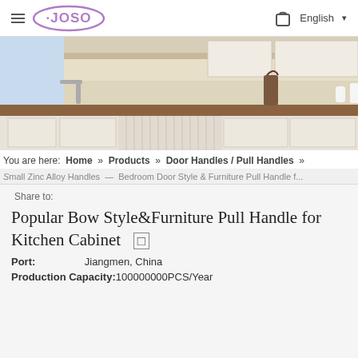JOSO — English
[Figure (photo): Kitchen interior photo showing white cabinets with a wooden countertop, sink, and decorative items on the counter.]
You are here:  Home » Products » Door Handles / Pull Handles »
Small Zinc Alloy Handles — Bedroom Door Style & Furniture Pull Handle for ...
Share to:
Popular Bow Style&Furniture Pull Handle for Kitchen Cabinet
Port:   Jiangmen, China
Production Capacity:100000000PCS/Year